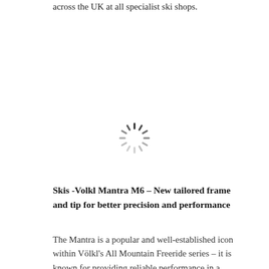across the UK at all specialist ski shops.
[Figure (other): Loading spinner / activity indicator icon — circular spinner with radiating dashes in dark and light gray tones]
Skis -Volkl Mantra M6 – New tailored frame and tip for better precision and performance
The Mantra is a popular and well-established icon within Völkl's All Mountain Freeride series – it is known for providing reliable performance in a